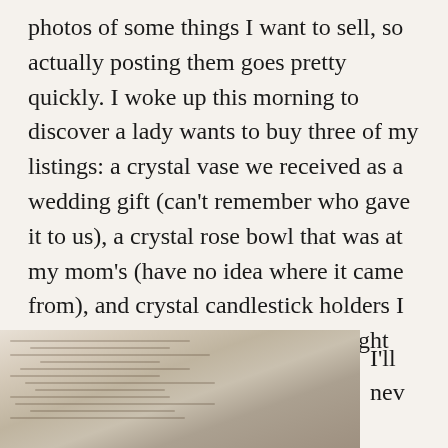photos of some things I want to sell, so actually posting them goes pretty quickly. I woke up this morning to discover a lady wants to buy three of my listings: a crystal vase we received as a wedding gift (can't remember who gave it to us), a crystal rose bowl that was at my mom's (have no idea where it came from), and crystal candlestick holders I bought for a party we had about eight years ago that I haven't used since.
$28 for things I don't use, and I'm decluttering, too. It's a win-win!
[Figure (photo): A photo of an open book or documents with printed text, partially visible at the bottom of the page.]
I'll nev